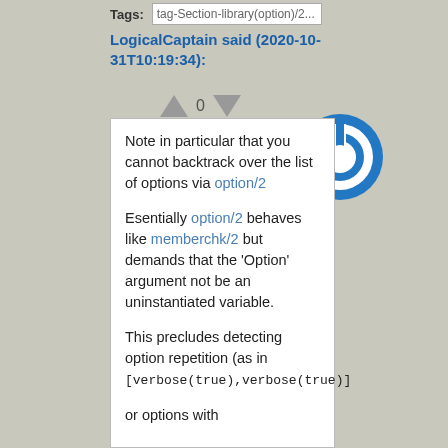Tags: [tag-button library(option)/2...]
LogicalCaptain said (2020-10-31T10:19:34):
[Figure (other): Blue circular power button icon]
Note in particular that you cannot backtrack over the list of options via option/2

Esentially option/2 behaves like memberchk/2 but demands that the 'Option' argument not be an uninstantiated variable.

This precludes detecting option repetition (as in [verbose(true),verbose(true)]) or options with...